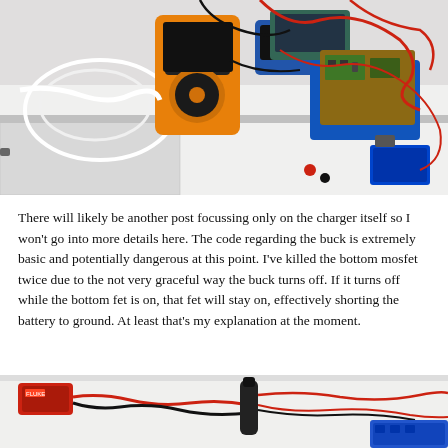[Figure (photo): Electronics workbench with a yellow/orange multimeter, blue oscilloscope probe, circuit board mounted on blue bracket, tangled red and black wires, on a white surface/desk]
There will likely be another post focussing only on the charger itself so I won't go into more details here. The code regarding the buck is extremely basic and potentially dangerous at this point. I've killed the bottom mosfet twice due to the not very graceful way the buck turns off. If it turns off while the bottom fet is on, that fet will stay on, effectively shorting the battery to ground. At least that's my explanation at the moment.
[Figure (photo): Close-up of electronic test equipment on white surface: red Fluke device with cables, black handle/probe, red and black wires, blue component partially visible at bottom right]